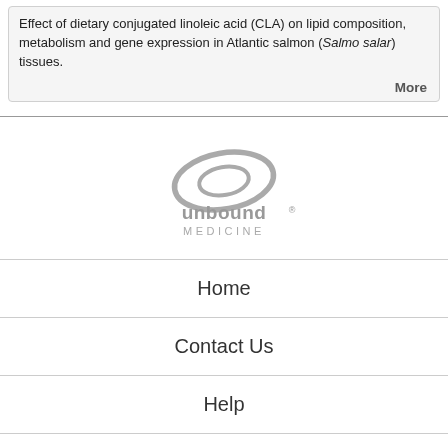Effect of dietary conjugated linoleic acid (CLA) on lipid composition, metabolism and gene expression in Atlantic salmon (Salmo salar) tissues.
More
[Figure (logo): Unbound Medicine logo — stylized oval/ellipse icon in gray above the text 'unbound® MEDICINE' in gray sans-serif]
Home
Contact Us
Help
Privacy / Disclaimer